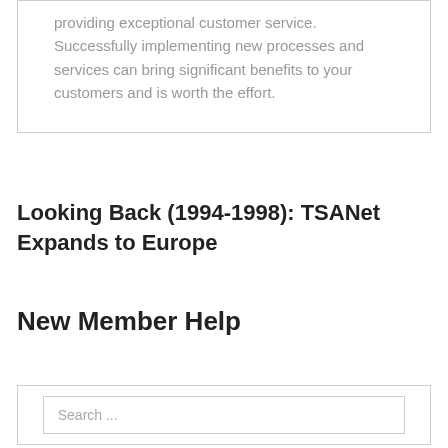providing exceptional customer service. Successfully implementing new processes and services can bring significant benefits to your customers and is worth the effort.
Looking Back (1994-1998): TSANet Expands to Europe
New Member Help
Search ...